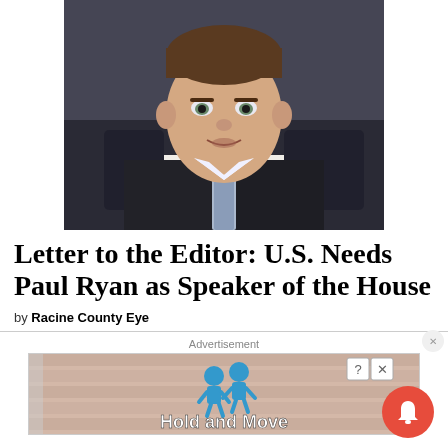[Figure (photo): Photo of a man in a dark suit and blue tie, appearing to be speaking or in a formal setting]
Letter to the Editor: U.S. Needs Paul Ryan as Speaker of the House
by Racine County Eye
[Figure (screenshot): Advertisement banner showing 'Hold and Move' text with blue figures and a striped background, with close/question buttons]